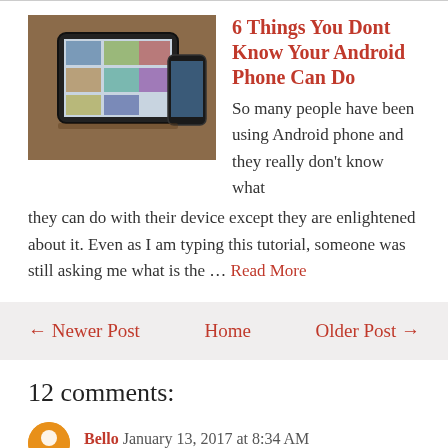[Figure (photo): Photo of an Android tablet/phone lying flat on a wooden surface]
6 Things You Dont Know Your Android Phone Can Do
So many people have been using Android phone and they really don't know what they can do with their device except they are enlightened about it. Even as I am typing this tutorial, someone was still asking me what is the … Read More
← Newer Post   Home   Older Post →
12 comments:
Bello January 13, 2017 at 8:34 AM